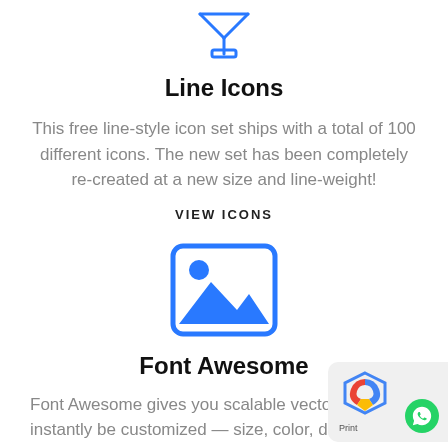[Figure (illustration): Blue line-style icon of a filter/funnel symbol]
Line Icons
This free line-style icon set ships with a total of 100 different icons. The new set has been completely re-created at a new size and line-weight!
VIEW ICONS
[Figure (illustration): Blue image/photo icon with rounded rectangle border, mountain and sun]
Font Awesome
Font Awesome gives you scalable vector icons tha instantly be customized — size, color, drop shadow,